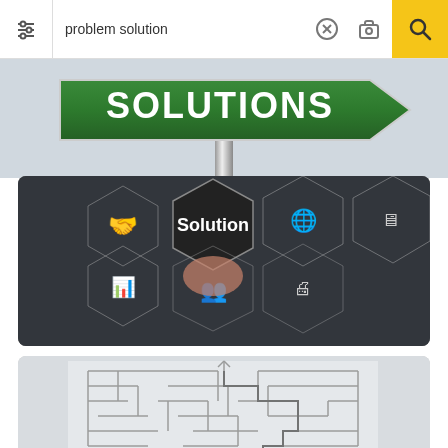[Figure (screenshot): Mobile browser search bar showing query 'problem solution' with filter icon, close icon, camera icon, and yellow search button]
[Figure (photo): Street sign pointing right with 'SOLUTIONS' text in white on green background, mounted on a metal pole]
[Figure (photo): Business person touching a hexagonal 'Solution' button among other hexagonal icons including handshake, globe, analytics, people, monitor, and printer icons]
[Figure (photo): Person in suit standing on road looking at a maze/labyrinth on a wall with city skyline in background]
[Figure (photo): Road with yellow center line, split with 'Solution' on left side and 'Problem' on right side, partially visible]